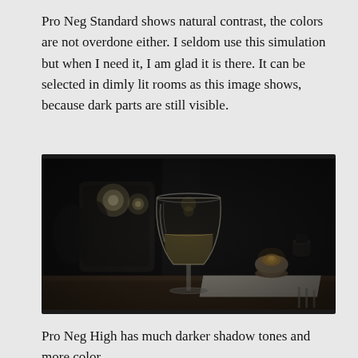Pro Neg Standard shows natural contrast, the colors are not overdone either. I seldom use this simulation but when I need it, I am glad it is there. It can be selected in dimly lit rooms as this image shows, because dark parts are still visible.
[Figure (photo): A wine glass with white wine on a restaurant table in a dimly lit setting, with a candle holder and pepper mill in the background, dark booth seating visible behind.]
Pro Neg High has much darker shadow tones and more color